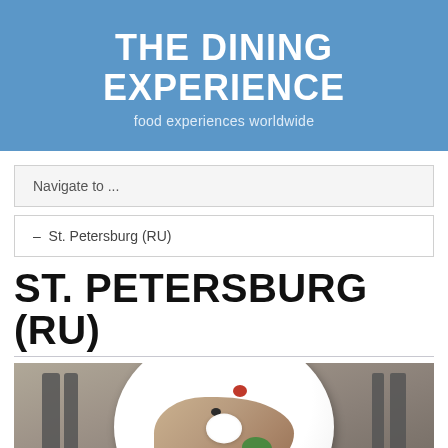THE DINING EXPERIENCE
food experiences worldwide
Navigate to ...
– St. Petersburg (RU)
ST. PETERSBURG (RU)
[Figure (photo): A plate of food with sliced meat, cherry tomatoes, dill, olives, and a small bowl of white sauce/mayonnaise, flanked by forks on the left and knives on the right.]